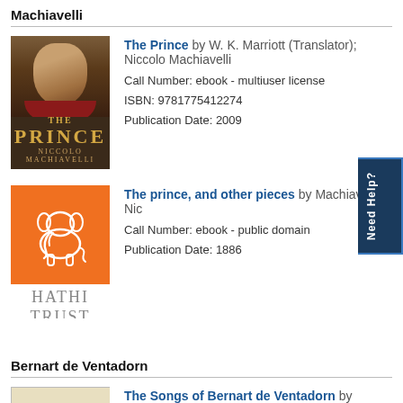Machiavelli
[Figure (illustration): Book cover for The Prince by Niccolo Machiavelli, dark background with portrait and golden text]
The Prince by W. K. Marriott (Translator); Niccolo Machiavelli
Call Number: ebook - multiuser license
ISBN: 9781775412274
Publication Date: 2009
[Figure (logo): HathiTrust logo: orange square with white elephant symbol, text HATHI TRUST below]
The prince, and other pieces by Machiavelli, Nic
Call Number: ebook - public domain
Publication Date: 1886
Bernart de Ventadorn
[Figure (illustration): Book cover for The Songs of Bernart de Ventadorn, tan/beige cover]
The Songs of Bernart de Ventadorn by Stephen G.